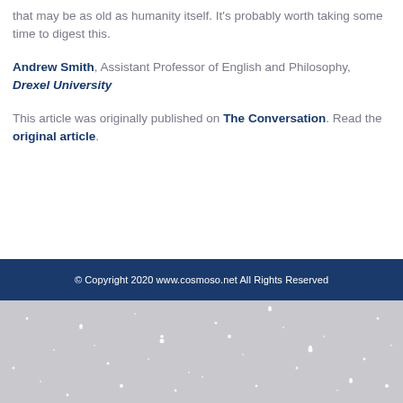that may be as old as humanity itself. It's probably worth taking some time to digest this.
Andrew Smith, Assistant Professor of English and Philosophy, Drexel University
This article was originally published on The Conversation. Read the original article.
© Copyright 2020 www.cosmoso.net All Rights Reserved
[Figure (photo): Gray starfield background image with white sparkle stars on light gray gradient background]